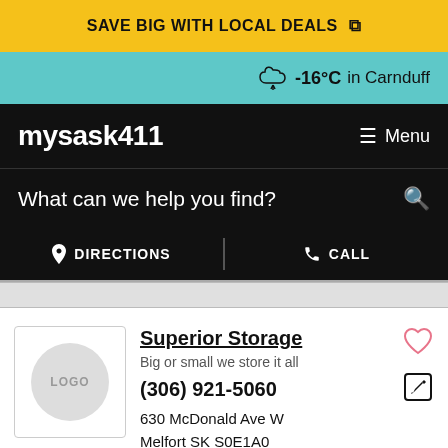SAVE BIG WITH LOCAL DEALS
-16°C in Carnduff
mysask411
Menu
What can we help you find?
DIRECTIONS
CALL
Superior Storage
Big or small we store it all
(306) 921-5060
630 McDonald Ave W
Melfort SK S0E1A0